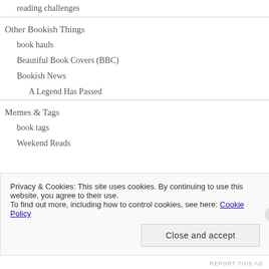reading challenges
Other Bookish Things
book hauls
Beautiful Book Covers (BBC)
Bookish News
A Legend Has Passed
Memes & Tags
book tags
Weekend Reads
Privacy & Cookies: This site uses cookies. By continuing to use this website, you agree to their use.
To find out more, including how to control cookies, see here: Cookie Policy
Close and accept